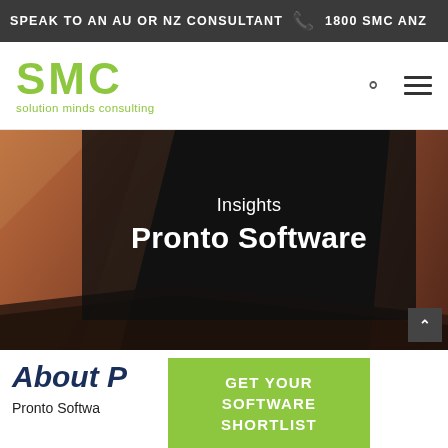SPEAK TO AN AU OR NZ CONSULTANT  1800 SMC ANZ
[Figure (logo): SMC Solution Minds Consulting logo in green with tagline 'solution minds consulting']
Insights
Pronto Software
About P[ronto Software]
GET YOUR SOFTWARE SHORTLIST
Pronto Softwa[re is a devel]per of award-[winning software]